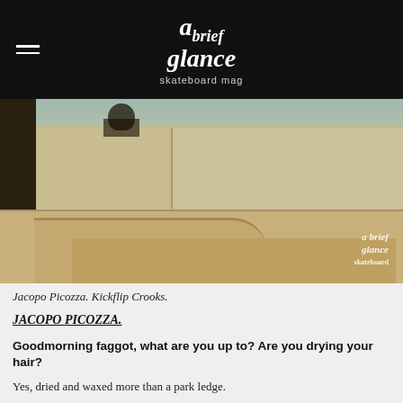a brief glance skateboard mag
[Figure (photo): Sepia-toned photo of a skateboarder performing a Kickflip Crooks trick on a large concrete ledge/stair structure outdoors. Trees visible in background. 'a brief glance' watermark in bottom right corner.]
Jacopo Picozza. Kickflip Crooks.
JACOPO PICOZZA.
Goodmorning faggot, what are you up to? Are you drying your hair?
Yes, dried and waxed more than a park ledge.
Let's talk about serious things, when did you start filming your video-part for Generation Waste?